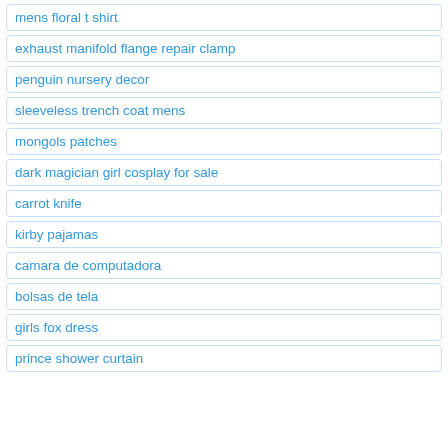mens floral t shirt
exhaust manifold flange repair clamp
penguin nursery decor
sleeveless trench coat mens
mongols patches
dark magician girl cosplay for sale
carrot knife
kirby pajamas
camara de computadora
bolsas de tela
girls fox dress
prince shower curtain